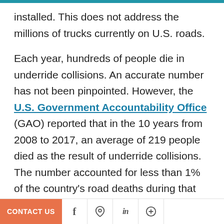installed. This does not address the millions of trucks currently on U.S. roads.

Each year, hundreds of people die in underride collisions. An accurate number has not been pinpointed. However, the U.S. Government Accountability Office (GAO) reported that in the 10 years from 2008 to 2017, an average of 219 people died as the result of underride collisions. The number accounted for less than 1% of the country's road deaths during that time. But the GAO suggested that underride collisions remain [partially visible] fferences in data